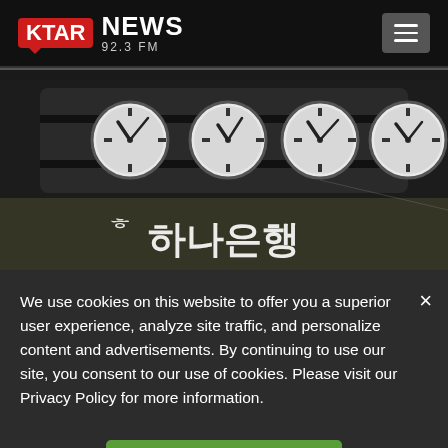[Figure (logo): KTAR NEWS 92.3 FM logo with red KTAR badge and white NEWS text]
[Figure (photo): Four analog clocks mounted on a dark wall above a Korean bank (Hana Bank / 하나은행) sign with illuminated Korean characters]
We use cookies on this website to offer you a superior user experience, analyze site traffic, and personalize content and advertisements. By continuing to use our site, you consent to our use of cookies. Please visit our Privacy Policy for more information.
Accept Cookies